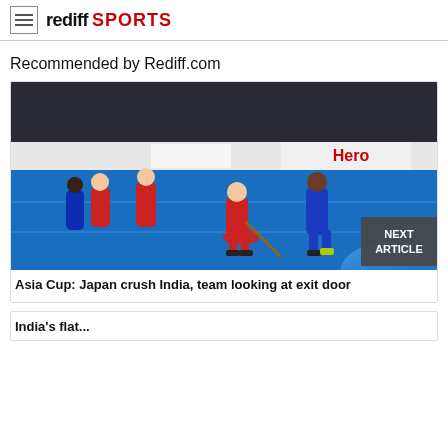rediff SPORTS
Recommended by Rediff.com
[Figure (photo): Field hockey match showing players in red and blue jerseys competing on a blue turf, with Asia Cup hockey banners including Hero and Asia Hockey branding in the background]
Asia Cup: Japan crush India, team looking at exit door
India's flat...